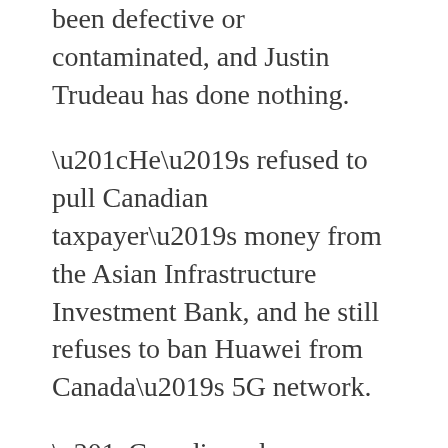been defective or contaminated, and Justin Trudeau has done nothing.
“He’s refused to pull Canadian taxpayer’s money from the Asian Infrastructure Investment Bank, and he still refuses to ban Huawei from Canada’s 5G network.
“Canadians deserve transparency and accountability when it comes to Canada’s relationship with Beijing, and they deserve to know that their government is standing up for our national interests. I will continue to call